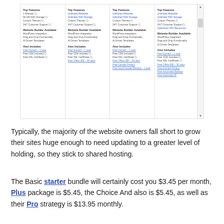[Figure (screenshot): Screenshot of a web hosting comparison table showing four plan columns, each with Top Features, Website Builder Available, and Also Includes sections. Plans list items like Unlimited Websites, Unlimited SSD Storage, Custom Themes, 24/7 Customer Support, WordPress Integration, Drag and Drop Functionality, AI Driven Templates, Free Domain 1 year, Free CDN Included, Free SSL Certificate, Free Office 365 30 days, Free Domain Privacy, Free Automated Backup, Free Dedicated IP.]
Typically, the majority of the website owners fall short to grow their sites huge enough to need updating to a greater level of holding, so they stick to shared hosting.
The Basic starter bundle will certainly cost you $3.45 per month, Plus package is $5.45, the Choice And also is $5.45, as well as their Pro strategy is $13.95 monthly.